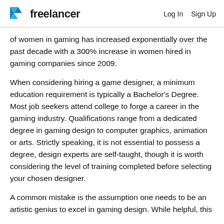Freelancer  |  Log In  Sign Up
of women in gaming has increased exponentially over the past decade with a 300% increase in women hired in gaming companies since 2009.
When considering hiring a game designer, a minimum education requirement is typically a Bachelor's Degree. Most job seekers attend college to forge a career in the gaming industry. Qualifications range from a dedicated degree in gaming design to computer graphics, animation or arts. Strictly speaking, it is not essential to possess a degree, design experts are self-taught, though it is worth considering the level of training completed before selecting your chosen designer.
A common mistake is the assumption one needs to be an artistic genius to excel in gaming design. While helpful, this